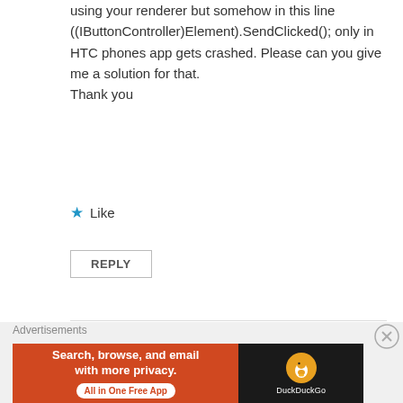using your renderer but somehow in this line ((IButtonController)Element).SendClicked(); only in HTC phones app gets crashed. Please can you give me a solution for that.
Thank you
Like
REPLY
Alex Dunn
November 22, 2017 at 8:59 am
Wow that’s a new one. Can you open a ticket in the github repo? I’ll have to look into it. Thanks for supporting the
Advertisements
[Figure (screenshot): DuckDuckGo advertisement banner: 'Search, browse, and email with more privacy. All in One Free App' on orange background with DuckDuckGo logo on dark background]